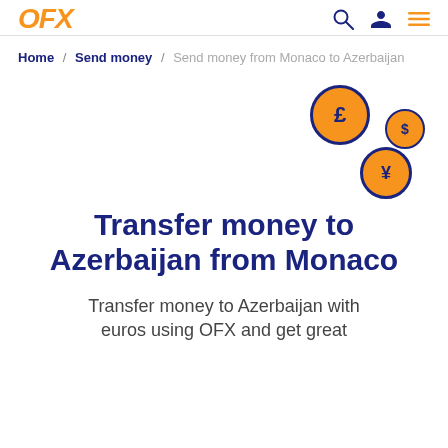OFX
Home / Send money / Send money from Monaco to Azerbaijan
[Figure (illustration): Three currency coins with symbols for pound (£), dollar ($), and yen (¥), styled with orange fill and dark navy border, floating in a scattered arrangement on the right side of the page.]
Transfer money to Azerbaijan from Monaco
Transfer money to Azerbaijan with euros using OFX and get great